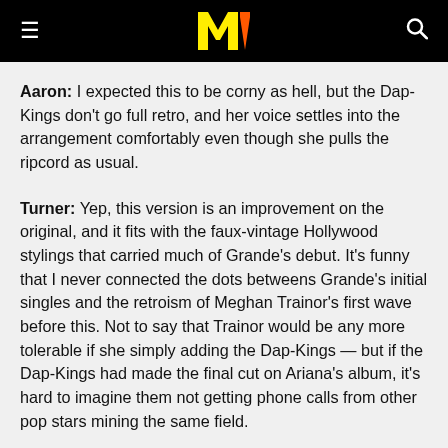MTV logo with hamburger menu and search icon
Aaron: I expected this to be corny as hell, but the Dap-Kings don't go full retro, and her voice settles into the arrangement comfortably even though she pulls the ripcord as usual.
Turner: Yep, this version is an improvement on the original, and it fits with the faux-vintage Hollywood stylings that carried much of Grande's debut. It's funny that I never connected the dots betweens Grande's initial singles and the retroism of Meghan Trainor's first wave before this. Not to say that Trainor would be any more tolerable if she simply adding the Dap-Kings — but if the Dap-Kings had made the final cut on Ariana's album, it's hard to imagine them not getting phone calls from other pop stars mining the same field.